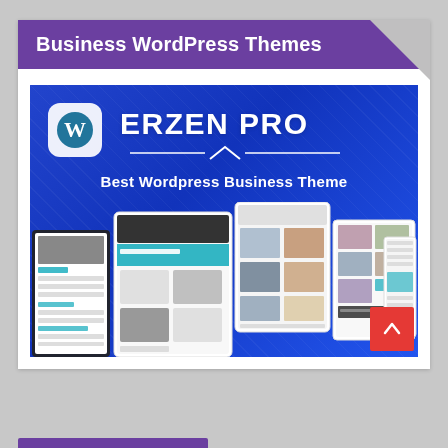Business WordPress Themes
[Figure (screenshot): Erzen Pro WordPress business theme promotional screenshot showing the theme name, WordPress logo, and multiple device mockups (desktop, tablet, mobile) displaying the theme layout on a blue diagonal background with the subtitle 'Best Wordpress Business Theme']
[Figure (other): Red scroll-to-top arrow button in bottom right corner]